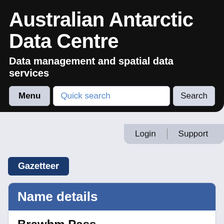Australian Antarctic Data Centre
Data management and spatial data services
Menu | Quick search | Search | Login | Support
Gazetteer
Name details
Brawhm Pass
Brawhm Pass (The name as it would appear in a gazetteer)